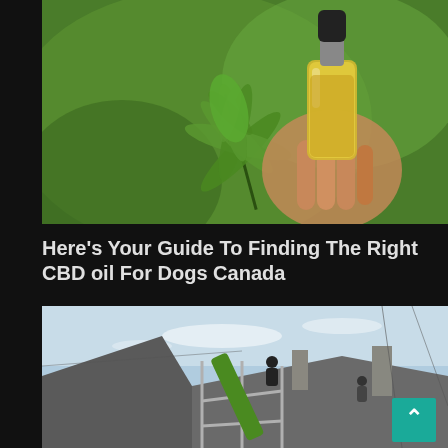[Figure (photo): A hand holding a small glass dropper bottle filled with yellow/golden CBD oil, with a cannabis leaf in the foreground, against a blurred green background.]
Here's Your Guide To Finding The Right CBD oil For Dogs Canada
[Figure (photo): Workers on scaffolding repairing or replacing the roof of a house, with a green conveyor/chute visible, under a partly cloudy sky.]